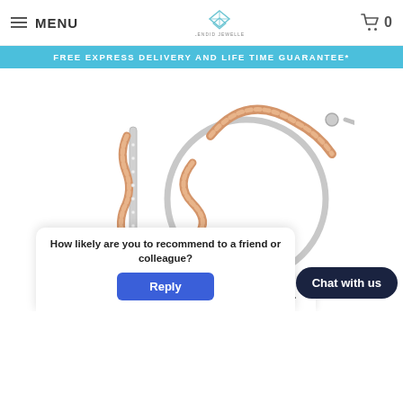MENU | Splendid Jewellery | 0 (cart)
FREE EXPRESS DELIVERY AND LIFE TIME GUARANTEE*
[Figure (photo): Product photo of two rose gold and silver hoop earrings with rope-twist detailing and diamond accents, shown on white background]
How likely are you to recommend to a friend or colleague?
Reply
Chat with us